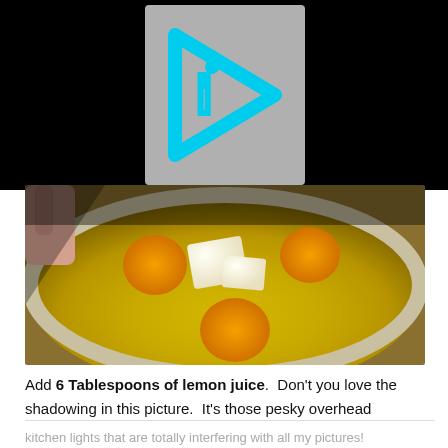[Figure (logo): Cyan/blue play-button style logo with a triangle arrow and letter i, on a gray background, centered in a black banner]
[Figure (photo): Photo of a white bowl containing egg yolks and butter pieces, with a hand visible at the upper left edge]
Add 6 Tablespoons of lemon juice.  Don't you love the shadowing in this picture.  It's those pesky overhead
kitchen lights that are totally interfering with all my pictures!